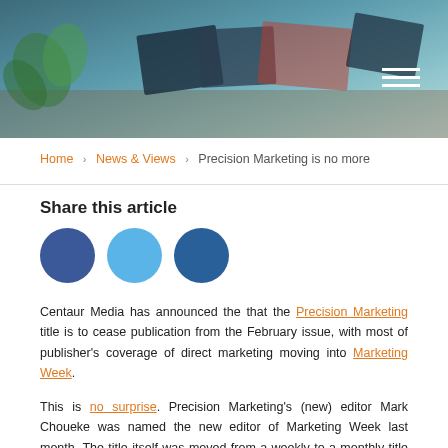[Figure (photo): Hero image showing books, notebooks and a plant on a desk, with a hamburger menu icon in the top right corner]
Home › News & Views › Precision Marketing is no more
Share this article
[Figure (illustration): Three social sharing icons: Facebook (dark blue), Twitter (light blue), LinkedIn (dark blue)]
Centaur Media has announced the that the Precision Marketing title is to cease publication from the February issue, with most of publisher's coverage of direct marketing moving into Marketing Week.
This is no surprise. Precision Marketing's (new) editor Mark Choueke was named the new editor of Marketing Week last month. The title itself was moved from a weekly to a monthly title late last year. So things haven't been looking good for a while.
Is this a problem?